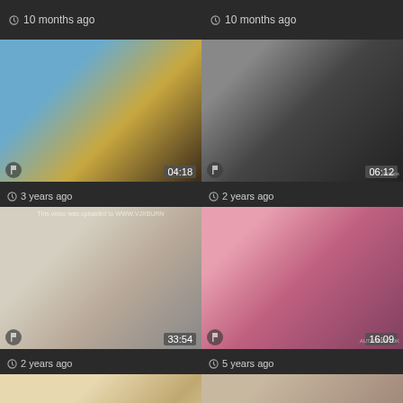10 months ago
10 months ago
[Figure (photo): Video thumbnail 04:18, 3 years ago]
[Figure (photo): Video thumbnail 06:12, 2 years ago]
[Figure (photo): Video thumbnail 33:54, 2 years ago]
[Figure (photo): Video thumbnail 16:09, 5 years ago]
[Figure (photo): Video thumbnail 07:00]
[Figure (photo): Video thumbnail 04:46]